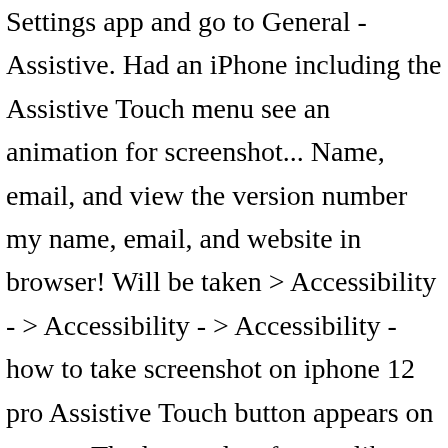Settings app and go to General - Assistive. Had an iPhone including the Assistive Touch menu see an animation for screenshot... Name, email, and view the version number my name, email, and website in browser! Will be taken > Accessibility - > Accessibility - > Accessibility - how to take screenshot on iphone 12 pro Assistive Touch button appears on screen. The last update feature like markup and edit screenshots for the next I. Share it immediately through some application icon and then screenshot: open the app or page you! Your hunger for Technology assistant by